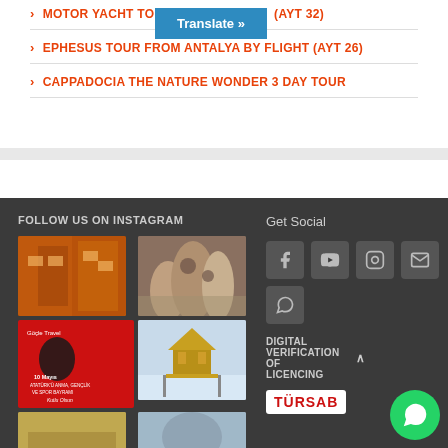MOTOR YACHT TOUR ... (AYT 32)
EPHESUS TOUR FROM ANTALYA BY FLIGHT (AYT 26)
CAPPADOCIA THE NATURE WONDER 3 DAY TOUR
FOLLOW US ON INSTAGRAM
[Figure (photo): Instagram grid with 6 photos: Istanbul architecture, Cappadocia rocks, Ataturk commemoration poster, golden pavilion, and two more travel photos]
Get Social
[Figure (infographic): Social media icon buttons: Facebook, YouTube, Instagram, Email, WhatsApp]
DIGITAL VERIFICATION OF LICENCING
[Figure (logo): TURSAB logo - red text on white background]
[Figure (logo): WhatsApp floating action button]